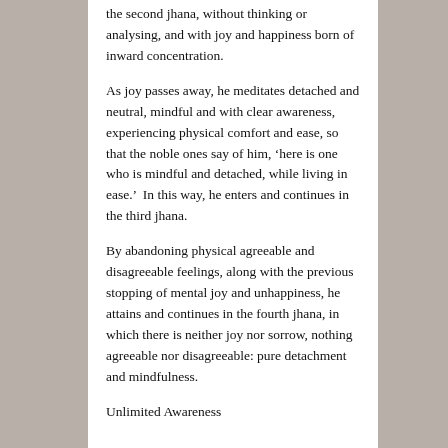the second jhana, without thinking or analysing, and with joy and happiness born of inward concentration.
As joy passes away, he meditates detached and neutral, mindful and with clear awareness, experiencing physical comfort and ease, so that the noble ones say of him, ‘here is one who is mindful and detached, while living in ease.’  In this way, he enters and continues in the third jhana.
By abandoning physical agreeable and disagreeable feelings, along with the previous stopping of mental joy and unhappiness, he attains and continues in the fourth jhana, in which there is neither joy nor sorrow, nothing agreeable nor disagreeable: pure detachment and mindfulness.
Unlimited Awareness